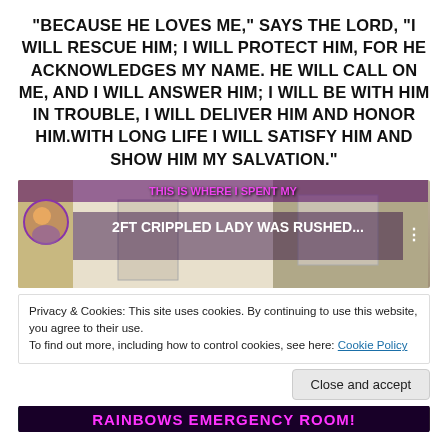“BECAUSE HE LOVES ME,” SAYS THE LORD, “I WILL RESCUE HIM; I WILL PROTECT HIM, FOR HE ACKNOWLEDGES MY NAME. HE WILL CALL ON ME, AND I WILL ANSWER HIM; I WILL BE WITH HIM IN TROUBLE, I WILL DELIVER HIM AND HONOR HIM.WITH LONG LIFE I WILL SATISFY HIM AND SHOW HIM MY SALVATION.”
[Figure (screenshot): Video thumbnail showing a room interior with text overlays. Top text in pink/purple: 'THIS IS WHERE I SPENT MY'. Main text: '2FT CRIPPLED LADY WAS RUSHED...' with an avatar circle on the left and three-dots menu on the right.]
Privacy & Cookies: This site uses cookies. By continuing to use this website, you agree to their use.
To find out more, including how to control cookies, see here: Cookie Policy
Close and accept
[Figure (screenshot): Bottom banner with neon pink/magenta text: 'RAINBOWS EMERGENCY ROOM!' on a dark background.]